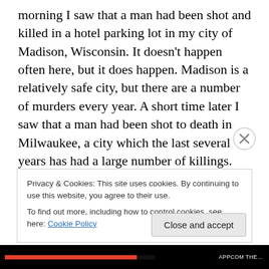morning I saw that a man had been shot and killed in a hotel parking lot in my city of Madison, Wisconsin. It doesn't happen often here, but it does happen. Madison is a relatively safe city, but there are a number of murders every year. A short time later I saw that a man had been shot to death in Milwaukee, a city which the last several years has had a large number of killings. Later in the morning there was a report of a woman shot and killed along a road in Beloit, Wisconsin. In reading another article on a Seattle television site I saw that two people had been killed in Seattle overnight. Then four more in
Privacy & Cookies: This site uses cookies. By continuing to use this website, you agree to their use.
To find out more, including how to control cookies, see here: Cookie Policy
Close and accept